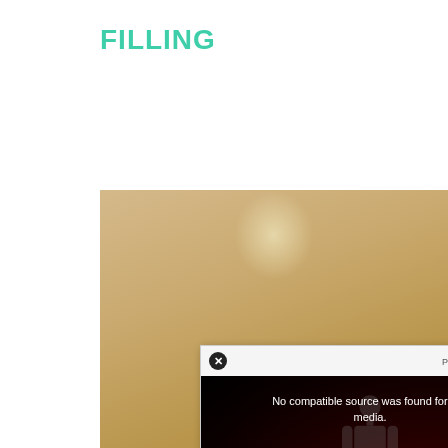FILLING
[Figure (screenshot): Screenshot of a webpage showing a tan/parchment background image with a video player overlay. The video player has a black background with red glow, displays an error message 'No compatible source was found for this media.' and shows text 'IMMUNE SYSTEM HOW IT ACTUALLY WORKS' with a skeleton figure. The top bar shows a close (x) button and 'Powered By VDO.AI' branding.]